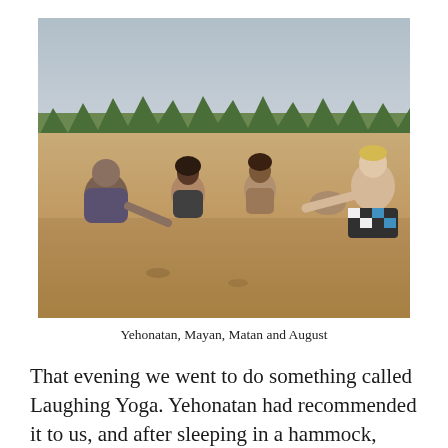[Figure (photo): Four people sitting on a sandy beach in sunlight: Yehonatan, Mayan, Matan, and August. Trees visible in the background under a pale sky.]
Yehonatan, Mayan, Matan and August
That evening we went to do something called Laughing Yoga. Yehonatan had recommended it to us, and after sleeping in a hammock, yoga felt like a